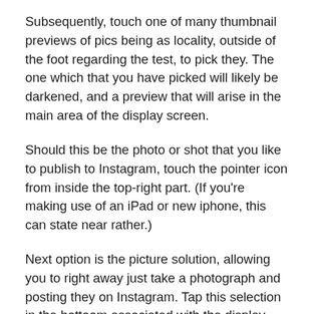Subsequently, touch one of many thumbnail previews of pics being as locality, outside of the foot regarding the test, to pick they. The one which that you have picked will likely be darkened, and a preview that will arise in the main area of the display screen.
Should this be the photo or shot that you like to publish to Instagram, touch the pointer icon from inside the top-right part. (If you're making use of an iPad or new iphone, this can state near rather.)
Next option is the picture solution, allowing you to right away just take a photograph and posting they on Instagram. Tap this selection in the bottoom associated with the display screen select they.
Here, you may tap the double-arrow symbol of the left to switch over your very own device's video camera